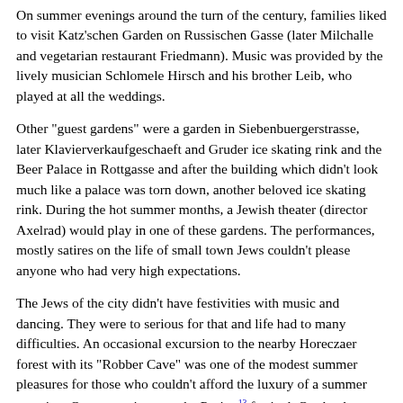On summer evenings around the turn of the century, families liked to visit Katz'schen Garden on Russischen Gasse (later Milchalle and vegetarian restaurant Friedmann). Music was provided by the lively musician Schlomele Hirsch and his brother Leib, who played at all the weddings.
Other "guest gardens" were a garden in Siebenbuergerstrasse, later Klavierverkaufgeschaeft and Gruder ice skating rink and the Beer Palace in Rottgasse and after the building which didn't look much like a palace was torn down, another beloved ice skating rink. During the hot summer months, a Jewish theater (director Axelrad) would play in one of these gardens. The performances, mostly satires on the life of small town Jews couldn't please anyone who had very high expectations.
The Jews of the city didn't have festivities with music and dancing. They were to serious for that and life had to many difficulties. An occasional excursion to the nearby Horeczaer forest with its "Robber Cave" was one of the modest summer pleasures for those who couldn't afford the luxury of a summer vacation. One exception was the Purim [13] festival. On the day before and for several days after the holiday, there was a colorful "mask festival" which reached its height on the actual day of the holiday. Private and public balls were held for the dance loving youth. Housewives tried to outdo each other in offering culinary delights. The good Jewish boys...